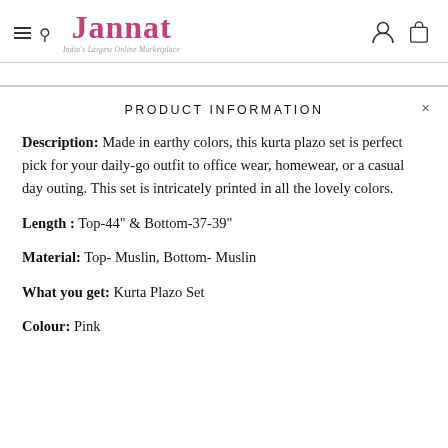Jannat — India's Largest Online Marketplace
PRODUCT INFORMATION
Description: Made in earthy colors, this kurta plazo set is perfect pick for your daily-go outfit to office wear, homewear, or a casual day outing. This set is intricately printed in all the lovely colors.
Length : Top-44" & Bottom-37-39"
Material: Top- Muslin, Bottom- Muslin
What you get: Kurta Plazo Set
Colour: Pink